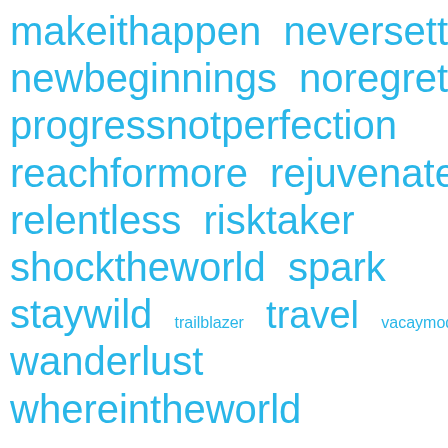[Figure (infographic): Word cloud of hashtag-style motivational and travel-related words in cyan/light blue on white background. Words vary in size indicating relative frequency/importance. Words include: makeithappen, neversettle, newbeginnings, noregrets, progressnotperfection, reachformore, rejuvenate, relentless, risktaker, shocktheworld, spark, staywild, trailblazer, travel, vacaymode, wanderlust, whereintheworld.]